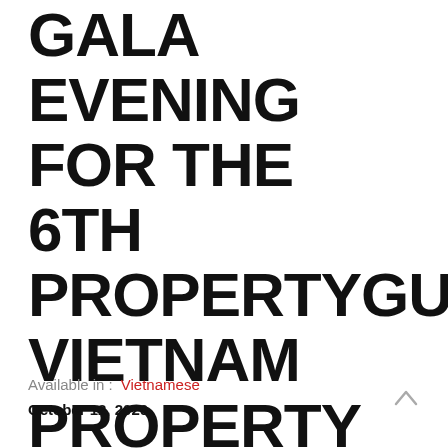GALA EVENING FOR THE 6TH PROPERTYGURU VIETNAM PROPERTY AWARDS 2020
Available in : Vietnamese
October 12, 2020